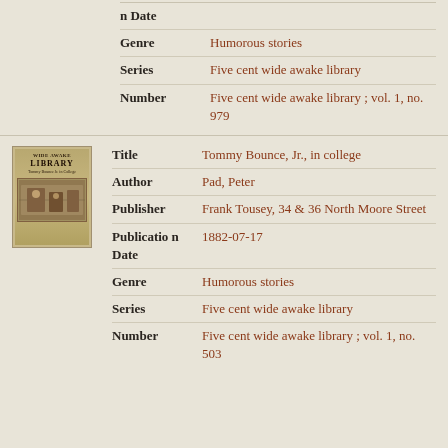| Field | Value |
| --- | --- |
| n Date |  |
| Genre | Humorous stories |
| Series | Five cent wide awake library |
| Number | Five cent wide awake library ; vol. 1, no. 979 |
[Figure (illustration): Book cover thumbnail for Wide Awake Library - Tommy Bounce Jr. in College, sepia-toned illustration]
| Field | Value |
| --- | --- |
| Title | Tommy Bounce, Jr., in college |
| Author | Pad, Peter |
| Publisher | Frank Tousey, 34 & 36 North Moore Street |
| Publication Date | 1882-07-17 |
| Genre | Humorous stories |
| Series | Five cent wide awake library |
| Number | Five cent wide awake library ; vol. 1, no. 503 |